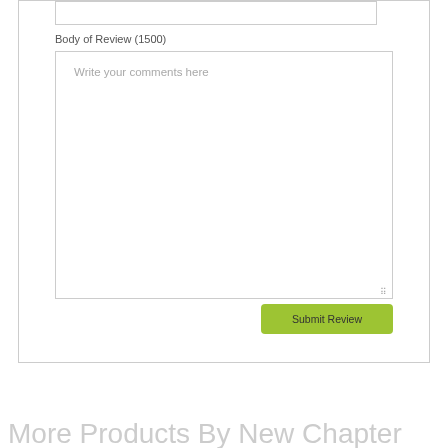Body of Review (1500)
Write your comments here
Submit Review
More Products By New Chapter